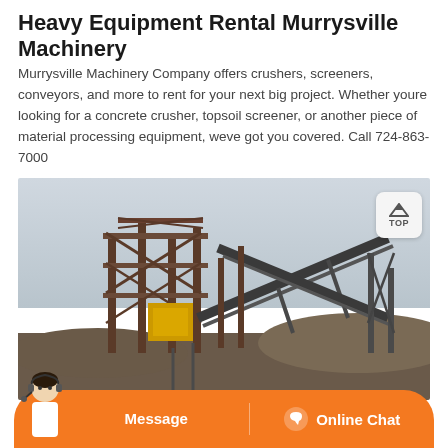Heavy Equipment Rental Murrysville Machinery
Murrysville Machinery Company offers crushers, screeners, conveyors, and more to rent for your next big project. Whether youre looking for a concrete crusher, topsoil screener, or another piece of material processing equipment, weve got you covered. Call 724-863-7000
[Figure (photo): Industrial heavy equipment facility showing large steel conveyor structures and material processing machinery against a cloudy sky, with piles of aggregate material in the foreground.]
Message   Online Chat